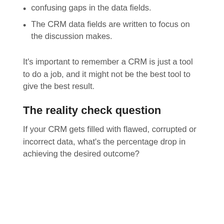confusing gaps in the data fields.
The CRM data fields are written to focus on the discussion makes.
It's important to remember a CRM is just a tool to do a job, and it might not be the best tool to give the best result.
The reality check question
If your CRM gets filled with flawed, corrupted or incorrect data, what's the percentage drop in achieving the desired outcome?